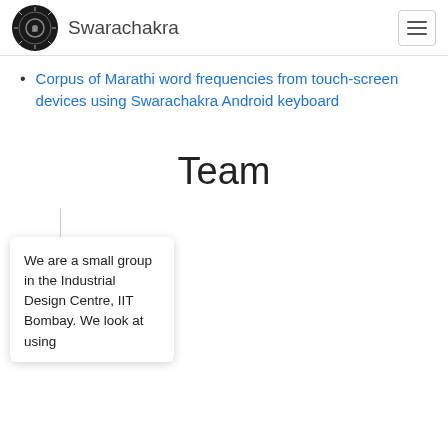Swarachakra
Corpus of Marathi word frequencies from touch-screen devices using Swarachakra Android keyboard
Team
We are a small group in the Industrial Design Centre, IIT Bombay. We look at using